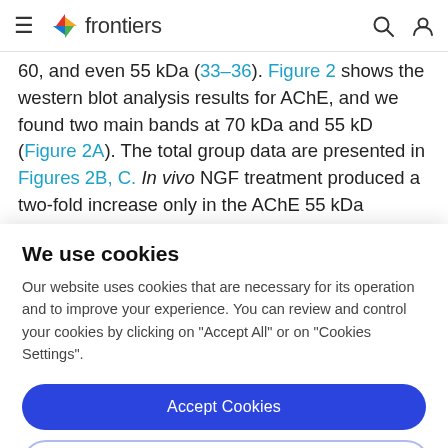frontiers
60, and even 55 kDa (33–36). Figure 2 shows the western blot analysis results for AChE, and we found two main bands at 70 kDa and 55 kD (Figure 2A). The total group data are presented in Figures 2B, C. In vivo NGF treatment produced a two-fold increase only in the AChE 55 kDa
We use cookies
Our website uses cookies that are necessary for its operation and to improve your experience. You can review and control your cookies by clicking on "Accept All" or on "Cookies Settings".
Accept Cookies
Cookies Settings